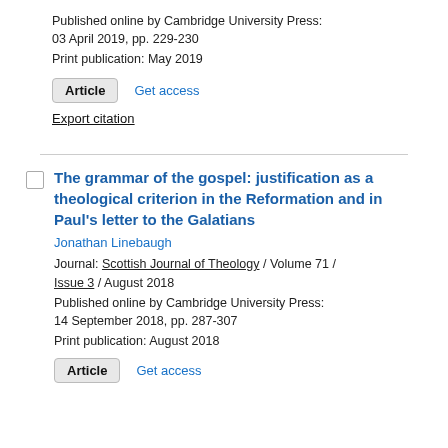Published online by Cambridge University Press: 03 April 2019, pp. 229-230
Print publication: May 2019
Article   Get access
Export citation
The grammar of the gospel: justification as a theological criterion in the Reformation and in Paul's letter to the Galatians
Jonathan Linebaugh
Journal: Scottish Journal of Theology / Volume 71 / Issue 3 / August 2018
Published online by Cambridge University Press: 14 September 2018, pp. 287-307
Print publication: August 2018
Article   Get access